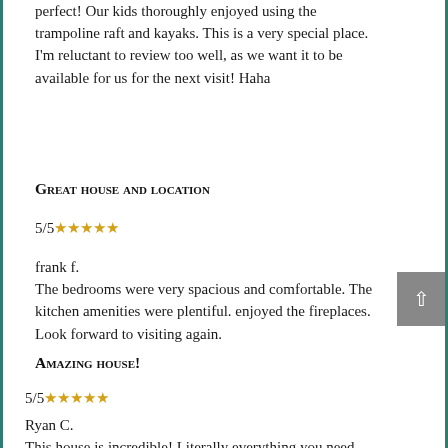perfect! Our kids thoroughly enjoyed using the trampoline raft and kayaks. This is a very special place. I'm reluctant to review too well, as we want it to be available for us for the next visit! Haha
Great house and location
5/5★★★★★
frank f.
The bedrooms were very spacious and comfortable. The kitchen amenities were plentiful. enjoyed the fireplaces. Look forward to visiting again.
Amazing house!
5/5★★★★★
Ryan C.
This house is incredible! Literally everything you need. Highly recommend it.
Great family weekend
5/5★★★★★
Ryan H.